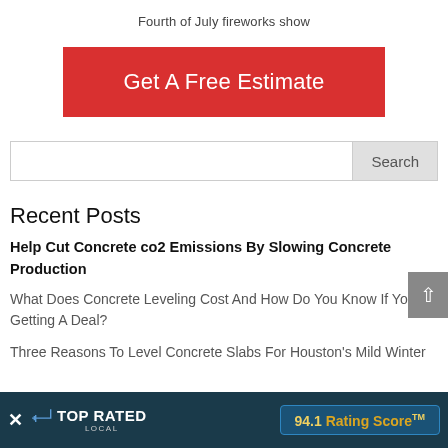Fourth of July fireworks show
[Figure (other): Red call-to-action button: Get A Free Estimate]
[Figure (other): Search input field with Search button]
Recent Posts
Help Cut Concrete co2 Emissions By Slowing Concrete Production
What Does Concrete Leveling Cost And How Do You Know If You're Getting A Deal?
Three Reasons To Level Concrete Slabs For Houston's Mild Winter
[Figure (other): Top Rated Local banner overlay with 94.1 Rating Score TM badge and close button]